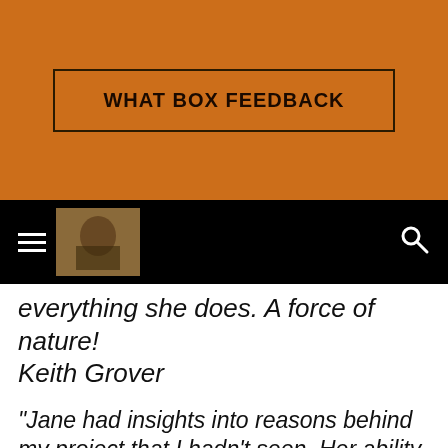[Figure (screenshot): Orange background header bar with a button labeled WHAT BOX FEEDBACK in dark border]
WHAT BOX FEEDBACK
[Figure (screenshot): Black navigation bar with hamburger menu icon, logo image, and search icon]
everything she does. A force of nature! Keith Grover
"Jane had insights into reasons behind my project that I hadn't seen. Her ability to recognise the juice, the essence of the project, drew out extra enthusiasm and effectiveness. Hers is a genuine talent born from empathy and focused energy." Phil Shepherd